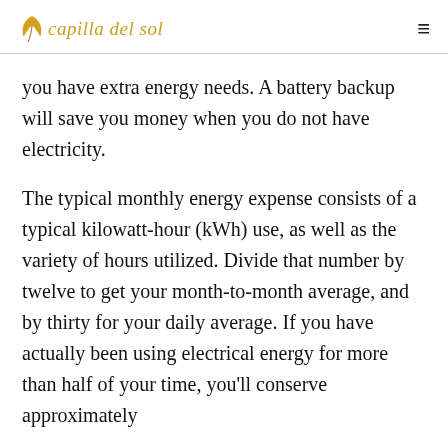capilla del sol
you have extra energy needs. A battery backup will save you money when you do not have electricity.
The typical monthly energy expense consists of a typical kilowatt-hour (kWh) use, as well as the variety of hours utilized. Divide that number by twelve to get your month-to-month average, and by thirty for your daily average. If you have actually been using electrical energy for more than half of your time, you'll conserve approximately